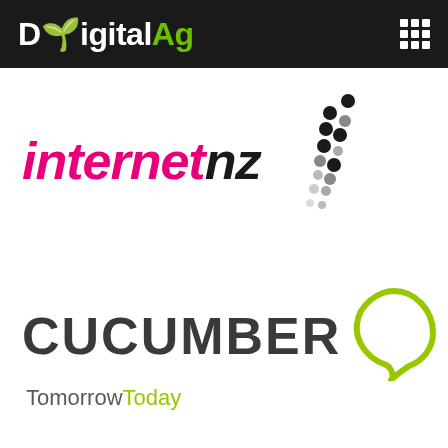[Figure (logo): DigitalAg logo on dark header bar with grid/menu icon on the right]
[Figure (logo): InternetNZ logo with pink italic 'internet' text, black italic 'nz' text, and a dotted NZ map outline graphic to the right]
[Figure (logo): Cucumber Tomorrow Today logo with bold grey CUCUMBER text, a lime green hexagonal speech bubble icon, and tagline 'TomorrowToday' in grey and lime green]